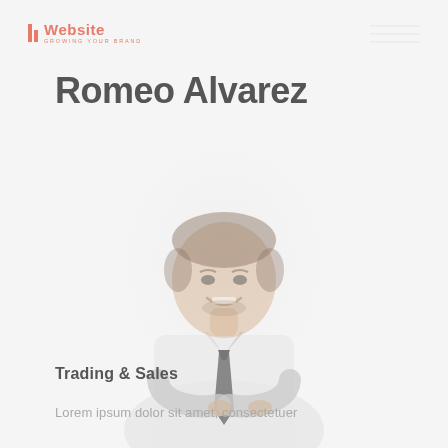Website – GROWING YOUR BRAND
Romeo Alvarez
[Figure (photo): Professional headshot of a smiling young man in a white shirt and dark tie with arms crossed, faded/washed-out style]
Trading & Sales
Lorem ipsum dolor sit amet, consectetuer